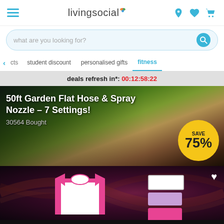livingsocial - navigation header with hamburger menu, logo, location, heart, and basket icons
what are you looking for?
cts
student discount
personalised gifts
fitness
deals refresh in*: 00:12:58:22
[Figure (photo): 50ft Garden Flat Hose & Spray Nozzle - 7 Settings! product card showing hose on wooden deck with grass background. 30564 Bought. SAVE 75% badge.]
[Figure (photo): Clothing products - pink and white raglan shirt with stacked coloured shirts on dark swirling background. Heart/wishlist icon.]
We use cookies to improve your experience on our site. Press 'ACCEPT' or manage your options. Privacy & Cookies Policy
Options
ACCEPT